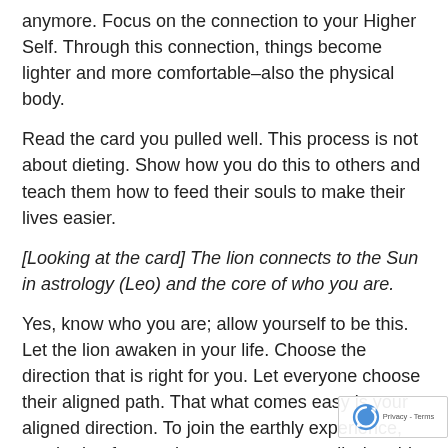anymore. Focus on the connection to your Higher Self. Through this connection, things become lighter and more comfortable–also the physical body.
Read the card you pulled well. This process is not about dieting. Show how you do this to others and teach them how to feed their souls to make their lives easier.
[Looking at the card] The lion connects to the Sun in astrology (Leo) and the core of who you are.
Yes, know who you are; allow yourself to be this. Let the lion awaken in your life. Choose the direction that is right for you. Let everyone choose their aligned path. That what comes easy is your aligned direction. To join the earthly experience, you had to forget who you are temporarily, but this insight returns sooner or later for most people. You may feel it comes late, but it is still early, as you will yet have many years in this insight.